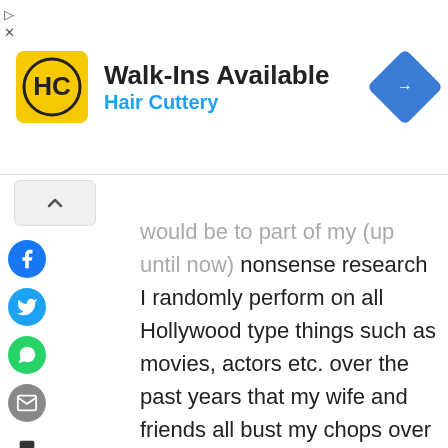[Figure (screenshot): Advertisement banner for Hair Cuttery showing logo, 'Walk-Ins Available' title, and blue navigation icon]
[Figure (other): Social media sharing sidebar with Facebook, Twitter, WhatsApp, Email icons and a bookmark icon]
would be to part of my (up until now) nonsense research I randomly perform on all Hollywood type things such as movies, actors etc. over the past years that my wife and friends all bust my chops over so it would be great to be able to put it to use and im extremely awesome to play games with which is just a bonus and who couldnt use 25k! Look forward to hearing from you .. This season, next season whatever!